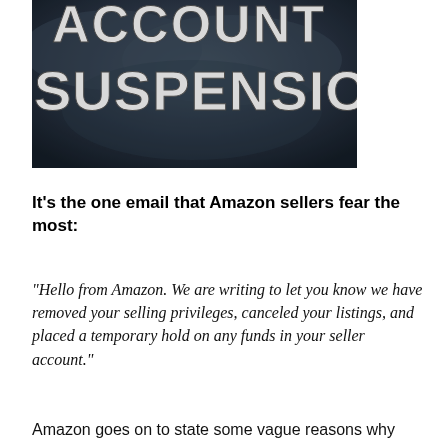[Figure (photo): Dark stormy sky background with large bold white text reading 'ACCOUNT SUSPENSION' curved/warped dramatically]
It’s the one email that Amazon sellers fear the most:
“Hello from Amazon. We are writing to let you know we have removed your selling privileges, canceled your listings, and placed a temporary hold on any funds in your seller account.”
Amazon goes on to state some vague reasons why